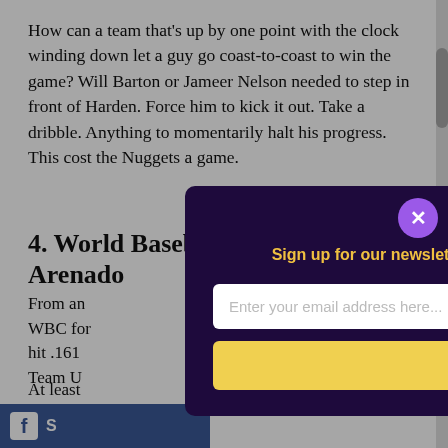How can a team that's up by one point with the clock winding down let a guy go coast-to-coast to win the game? Will Barton or Jameer Nelson needed to step in front of Harden. Force him to kick it out. Take a dribble. Anything to momentarily halt his progress. This cost the Nuggets a game.
4. World Baseball Classic Nolan Arenado
From an [partially obscured] WBC for [partially obscured] hit .161 [partially obscured] Team U[partially obscured]
At least [partially obscured] somewh[partially obscured] crossed [partially obscured] Puerto R[partially obscured]
[Figure (other): Newsletter signup modal overlay with dark purple background. Headline: 'You clearly care about Denver.' Subtext in yellow: 'Sign up for our newsletter and get everything you need to know about the city you love.' Email input field and 'Sign me up!' yellow button. Purple close button with X in top right corner.]
[Figure (other): Facebook share bar at the bottom left, blue background with Facebook icon and 'S' text visible.]